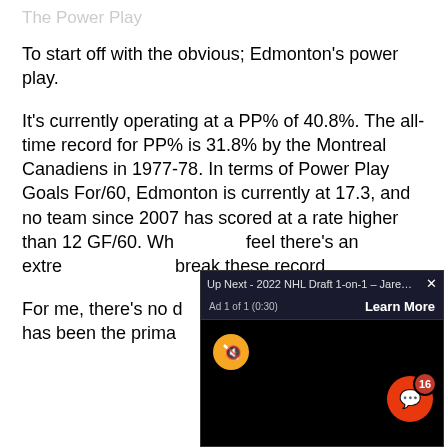The Power Play
To start off with the obvious; Edmonton's power play.
It's currently operating at a PP% of 40.8%. The all-time record for PP% is 31.8% by the Montreal Canadiens in 1977-78. In terms of Power Play Goals For/60, Edmonton is currently at 17.3, and no team since 2007 has scored at a rate higher than 12 GF/60. Wh[ile many] feel there's an extre[me chance to] break these record[s...]
For me, there's no d[oubt...] has been the prima[ry factor...]
[Figure (screenshot): Video ad overlay: 'Up Next - 2022 NHL Draft 1-on-1 - Jare...' with Ad 1 of 1 (0:30) label, Learn More button, muted (yellow mute icon), black video area, orange notification bubble with count 16]